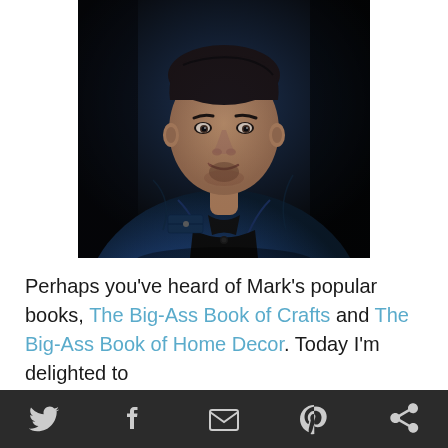[Figure (photo): Portrait of a man with dark hair wearing a blue leather jacket over a black polo shirt, photographed against a dark background. He is smiling slightly and looking at the camera.]
Perhaps you've heard of Mark's popular books, The Big-Ass Book of Crafts and The Big-Ass Book of Home Decor. Today I'm delighted to feature his newest title, Pulp Fiction... Perfect